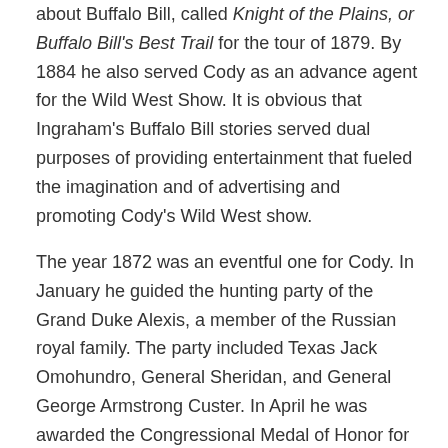about Buffalo Bill, called Knight of the Plains, or Buffalo Bill's Best Trail for the tour of 1879. By 1884 he also served Cody as an advance agent for the Wild West Show. It is obvious that Ingraham's Buffalo Bill stories served dual purposes of providing entertainment that fueled the imagination and of advertising and promoting Cody's Wild West show.
The year 1872 was an eventful one for Cody. In January he guided the hunting party of the Grand Duke Alexis, a member of the Russian royal family. The party included Texas Jack Omohundro, General Sheridan, and General George Armstrong Custer. In April he was awarded the Congressional Medal of Honor for gallantry in action at Platte River, Nebraska (the 1869 Battle of Summit Springs). Finally, Ned Buntline persuaded Cody to assume the romanticized role of Buffalo Bill on stage by starring in his play, The Scouts of the Plains, which